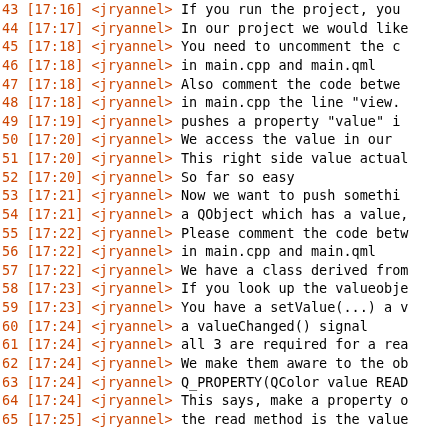43 [17:16] <jryannel> If you run the project, you
44 [17:17] <jryannel> In our project we would like
45 [17:18] <jryannel> You need to uncomment the c
46 [17:18] <jryannel> in main.cpp and main.qml
47 [17:18] <jryannel> Also comment the code betwe
48 [17:18] <jryannel> in main.cpp the line "view.
49 [17:19] <jryannel> pushes a property "value" i
50 [17:20] <jryannel> We access the value in our
51 [17:20] <jryannel> This right side value actual
52 [17:20] <jryannel> So far so easy
53 [17:21] <jryannel> Now we want to push somethi
54 [17:21] <jryannel> a QObject which has a value,
55 [17:22] <jryannel> Please comment the code betw
56 [17:22] <jryannel> in main.cpp and main.qml
57 [17:22] <jryannel> We have a class derived from
58 [17:23] <jryannel> If you look up the valueobje
59 [17:23] <jryannel> You have a setValue(...) a v
60 [17:24] <jryannel> a valueChanged() signal
61 [17:24] <jryannel> all 3 are required for a rea
62 [17:24] <jryannel> We make them aware to the ob
63 [17:24] <jryannel> Q_PROPERTY(QColor value READ
64 [17:24] <jryannel> This says, make a property o
65 [17:25] <jryannel> the read method is the value